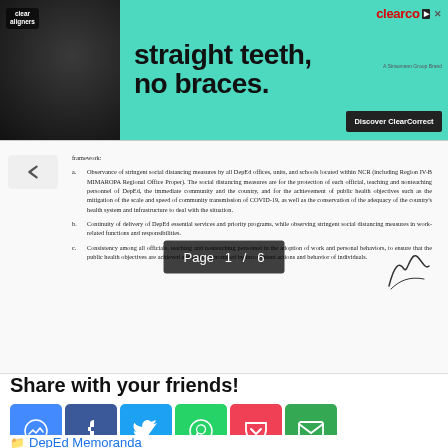[Figure (screenshot): ClearCorrect advertisement banner: 'straight teeth, no braces. Discover ClearCorrect' with woman smiling and clear aligners logo.]
[Figure (screenshot): Document viewer screenshot showing DepEd memorandum with list items a, b, c about social distancing, continuity of delivery of services, and consistency. Page overlay shows 'Page 1 / 6'.]
Share with your friends!
[Figure (infographic): Social sharing buttons: Messenger, Facebook, Twitter, WhatsApp, Pocket, Email]
DepEd Memoranda
< DepEd Guidelines for the Remainder of School Year 2019-2020 in Light of COVID-19